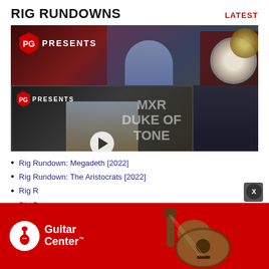RIG RUNDOWNS
LATEST
[Figure (screenshot): PG Presents video thumbnail showing a drummer/musician with a drum kit on stage, red and dark background]
[Figure (screenshot): PG Presents overlay video thumbnail showing a musician with guitar, 'MXR DUKE OF TONE' text overlay, First Look badge, and play button]
Rig Rundown: Megadeth [2022]
Rig Rundown: The Aristocrats [2022]
Rig R...
Rig R...
[Figure (photo): Guitar Center advertisement banner with red background, Guitar Center logo on left and acoustic guitar on right]